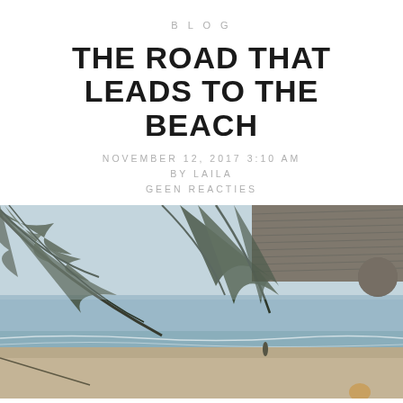BLOG
THE ROAD THAT LEADS TO THE BEACH
NOVEMBER 12, 2017 3:10 AM
BY LAILA
GEEN REACTIES
[Figure (photo): Beach scene viewed from under palm fronds and thatched roof overhang. Sky is overcast light blue, ocean with gentle waves in the middle ground, sandy beach in the foreground with a person visible standing near the waterline and another figure in the lower-right corner.]